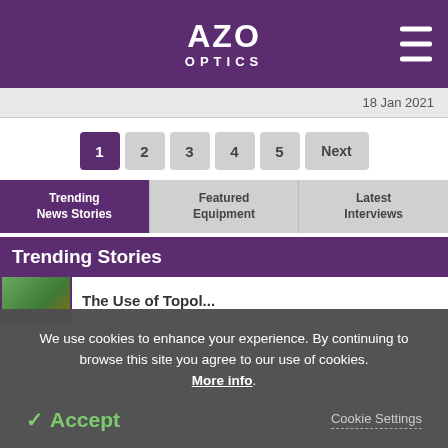AZO OPTICS
18 Jan 2021
1 2 3 4 5 Next
Trending News Stories | Featured Equipment | Latest Interviews
Trending Stories
We use cookies to enhance your experience. By continuing to browse this site you agree to our use of cookies. More info.
✓ Accept   Cookie Settings